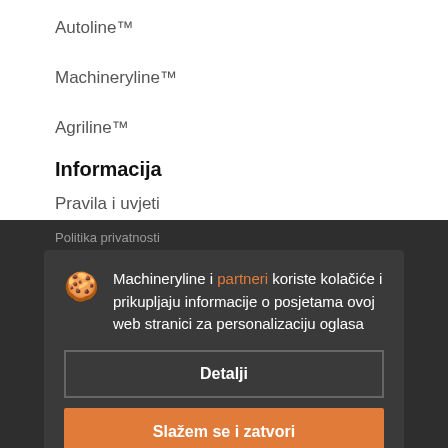Autoline™
Machineryline™
Agriline™
Informacija
Pravila i uvjeti
Politika privatnosti
Recenzije i ocjene
Karta web stranice
Naše ponude
Dodajte oglas
Postavite oglas
Machineryline i partneri koriste kolačiće i prikupljaju informacije o posjetama ovoj web stranici za personalizaciju oglasa
Detalji
Slažem se i zatvori